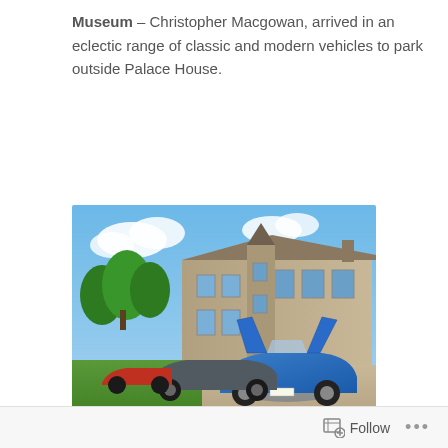Museum – Christopher Macgowan, arrived in an eclectic range of classic and modern vehicles to park outside Palace House.
[Figure (photo): Classic and modern sports cars including a blue BMW i8 with scissor doors open, parked on a gravel driveway in front of a large stone country house mansion with trees and blue sky background.]
[Figure (photo): Close-up view of a large stone country house mansion (Palace House) with turrets and chimneys against a blue sky with clouds.]
Follow ...